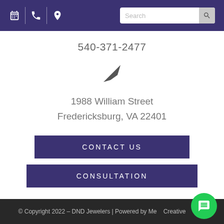Navigation bar with calendar, phone, location icons and search box
540-371-2477
[Figure (illustration): Location/navigation arrow icon pointing upper-right]
1988 William Street
Fredericksburg, VA 22401
CONTACT US
CONSULTATION
© Copyright 2022 – DND Jewelers | Powered by Mega Creative